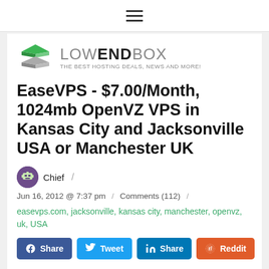LowEndBox - THE BEST HOSTING DEALS, NEWS AND MORE!
[Figure (logo): LowEndBox logo with stacked layers icon and text 'LOWENDBOX - THE BEST HOSTING DEALS, NEWS AND MORE!']
EaseVPS - $7.00/Month, 1024mb OpenVZ VPS in Kansas City and Jacksonville USA or Manchester UK
Chief
Jun 16, 2012 @ 7:37 pm / Comments (112)
easevps.com, jacksonville, kansas city, manchester, openvz, uk, USA